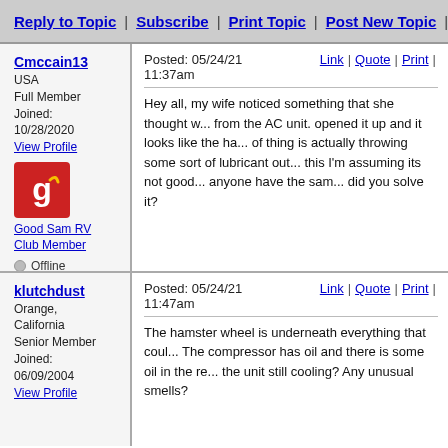Reply to Topic | Subscribe | Print Topic | Post New Topic | Oldest
Cmccain13
USA
Full Member
Joined: 10/28/2020
View Profile
Good Sam RV Club Member
Offline
Posted: 05/24/21 11:37am  Link | Quote | Print |
Hey all, my wife noticed something that she thought w... from the AC unit. opened it up and it looks like the ha... of thing is actually throwing some sort of lubricant out... this I'm assuming its not good... anyone have the sam... did you solve it?
klutchdust
Orange, California
Senior Member
Joined: 06/09/2004
View Profile
Posted: 05/24/21 11:47am  Link | Quote | Print |
The hamster wheel is underneath everything that coul... The compressor has oil and there is some oil in the re... the unit still cooling? Any unusual smells?